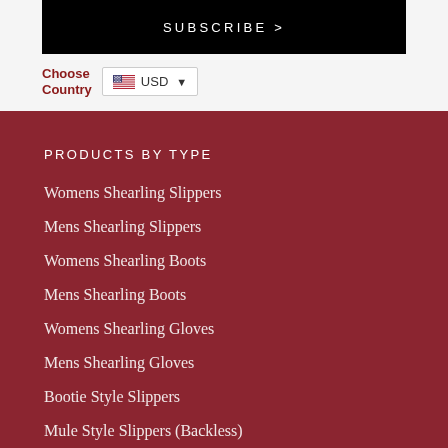[Figure (screenshot): Subscribe button banner with black background and white uppercase text 'SUBSCRIBE >']
Choose Country  USD ▼
PRODUCTS BY TYPE
Womens Shearling Slippers
Mens Shearling Slippers
Womens Shearling Boots
Mens Shearling Boots
Womens Shearling Gloves
Mens Shearling Gloves
Bootie Style Slippers
Mule Style Slippers (Backless)
Shearling Moccasin Slippers